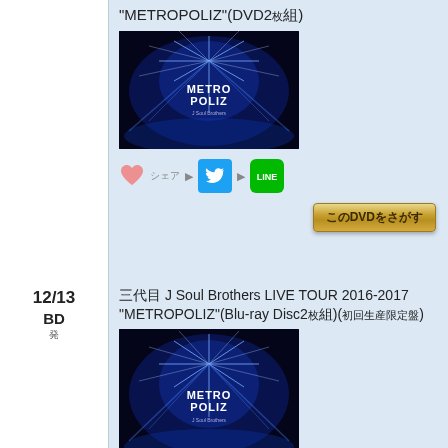"METROPOLIZ"(DVD2枚組)
[Figure (photo): Concert DVD cover for J Soul Brothers LIVE TOUR 2016-2017 METROPOLIZ showing blue laser light show]
シェア ▶ Twitter ▶ LINE
このDVDをさがす
12/13 BD 発売
三代目 J Soul Brothers LIVE TOUR 2016-2017 "METROPOLIZ"(Blu-ray Disc2枚組)(初回生産限定盤)
[Figure (photo): Concert Blu-ray cover for J Soul Brothers LIVE TOUR 2016-2017 METROPOLIZ showing blue laser light show]
シェア ▶ Twitter ▶ LINE